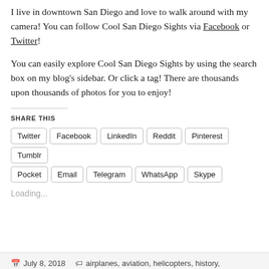I live in downtown San Diego and love to walk around with my camera! You can follow Cool San Diego Sights via Facebook or Twitter!
You can easily explore Cool San Diego Sights by using the search box on my blog's sidebar. Or click a tag! There are thousands upon thousands of photos for you to enjoy!
SHARE THIS
Twitter
Facebook
LinkedIn
Reddit
Pinterest
Tumblr
Pocket
Email
Telegram
WhatsApp
Skype
Loading...
July 8, 2018   airplanes, aviation, helicopters, history,